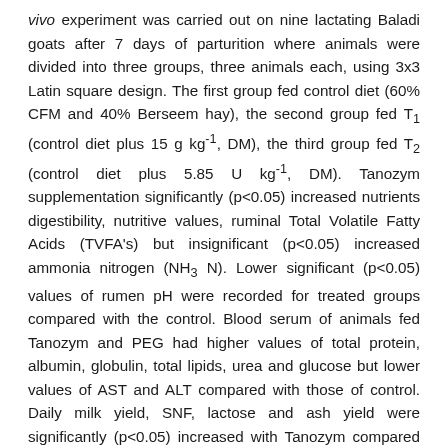vivo experiment was carried out on nine lactating Baladi goats after 7 days of parturition where animals were divided into three groups, three animals each, using 3x3 Latin square design. The first group fed control diet (60% CFM and 40% Berseem hay), the second group fed T1 (control diet plus 15 g kg-1, DM), the third group fed T2 (control diet plus 5.85 U kg-1, DM). Tanozym supplementation significantly (p<0.05) increased nutrients digestibility, nutritive values, ruminal Total Volatile Fatty Acids (TVFA's) but insignificant (p<0.05) increased ammonia nitrogen (NH3 N). Lower significant (p<0.05) values of rumen pH were recorded for treated groups compared with the control. Blood serum of animals fed Tanozym and PEG had higher values of total protein, albumin, globulin, total lipids, urea and glucose but lower values of AST and ALT compared with those of control. Daily milk yield, SNF, lactose and ash yield were significantly (p<0.05) increased with Tanozym compared control group. While there are no significant (p>0.05)